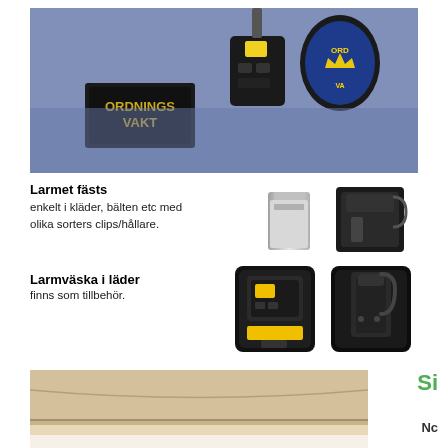[Figure (photo): Close-up photo of a security guard uniform shirt showing an 'ORDNINGSVAKT' badge patch and a yellow/black alarm device clipped to the chest area, with a police-style badge visible on the shoulder.]
Larmet fästs
enkelt i kläder, bälten etc med olika sorters clips/hållare.
[Figure (photo): Two clip/holder accessories for alarm device: a silver metal clip and a black plastic mounting bracket.]
Larmväska i läder
finns som tillbehör.
[Figure (photo): Two black leather carrying cases for alarm device: one showing front with yellow alarm button visible, one showing back with belt clip.]
[Figure (photo): Bottom partial photo showing a cardboard box or wooden surface.]
Si
Nc